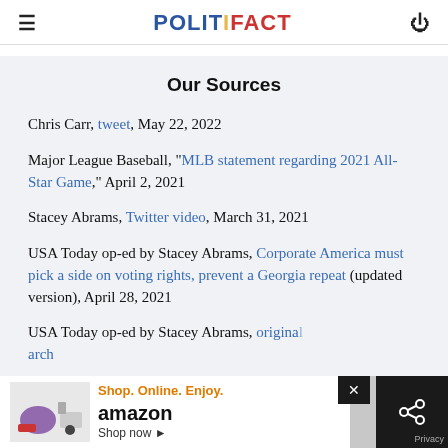POLITIFACT
Our Sources
Chris Carr, tweet, May 22, 2022
Major League Baseball, "MLB statement regarding 2021 All-Star Game," April 2, 2021
Stacey Abrams, Twitter video, March 31, 2021
USA Today op-ed by Stacey Abrams, Corporate America must pick a side on voting rights, prevent a Georgia repeat (updated version), April 28, 2021
USA Today op-ed by Stacey Abrams, original arch...
[Figure (other): Amazon advertisement banner at bottom of page]